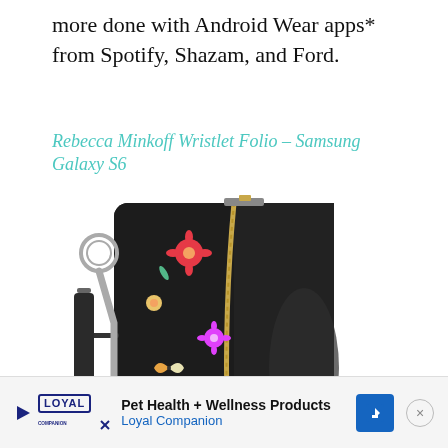more done with Android Wear apps* from Spotify, Shazam, and Ford.
Rebecca Minkoff Wristlet Folio – Samsung Galaxy S6
[Figure (photo): Rebecca Minkoff Wristlet Folio phone case for Samsung Galaxy S6. Black floral-patterned case with zipper closure and wrist strap. Navigation arrows (« and ») on left and right sides.]
Pet Health + Wellness Products Loyal Companion